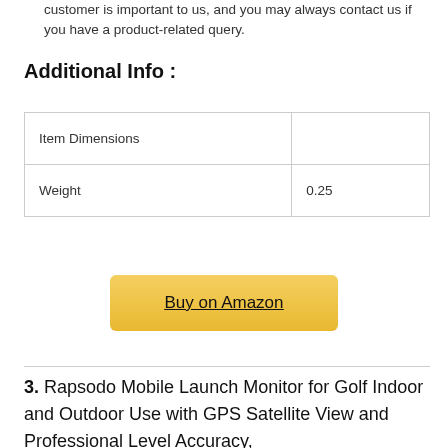customer is important to us, and you may always contact us if you have a product-related query.
Additional Info :
|  |  |
| --- | --- |
| Item Dimensions |  |
| Weight | 0.25 |
Buy on Amazon
3. Rapsodo Mobile Launch Monitor for Golf Indoor and Outdoor Use with GPS Satellite View and Professional Level Accuracy,